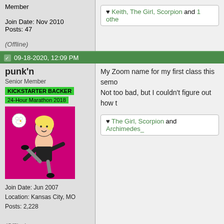Member
Join Date: Nov 2010
Posts: 47
(Offline)
♥ Keith, The Girl, Scorpion and 1 other
09-18-2020, 12:09 PM
punk'n
Senior Member
KICKSTARTER BACKER
24-Hour Marathon 2018
Join Date: Jun 2007
Location: Kansas City, MO
Posts: 2,228
(Offline)
My Zoom name for my first class this seme... Not too bad, but I couldn't figure out how t...
♥ The Girl, Scorpion and Archimedes_
[Figure (illustration): Cartoon avatar of a woman kicking on a magenta/pink background with a small Hello Kitty character floating nearby]
NEW REPLY
« Previous Thre...